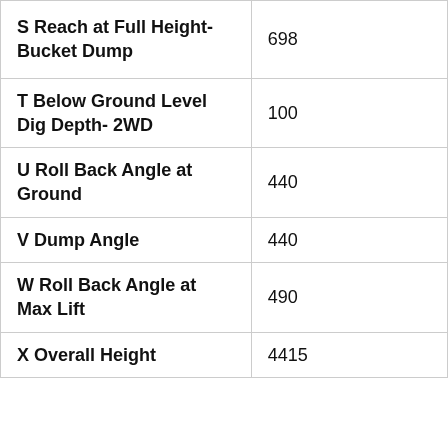| Parameter | Value |
| --- | --- |
| S Reach at Full Height- Bucket Dump | 698 |
| T Below Ground Level Dig Depth- 2WD | 100 |
| U Roll Back Angle at Ground | 440 |
| V Dump Angle | 440 |
| W Roll Back Angle at Max Lift | 490 |
| X Overall Height | 4415 |